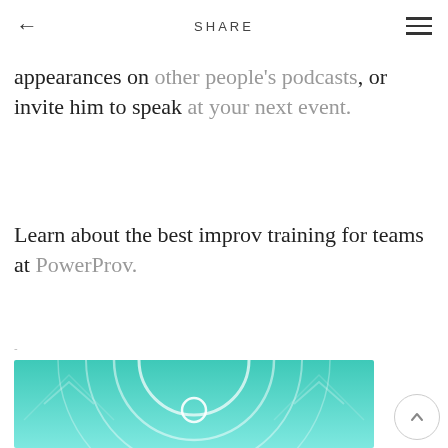← SHARE ≡
appearances on other people's podcasts, or invite him to speak at your next event.
Learn about the best improv training for teams at PowerProv.
-
[Figure (illustration): A teal/turquoise abstract geometric illustration with glowing concentric circles and symmetrical angular shapes on a gradient teal background.]